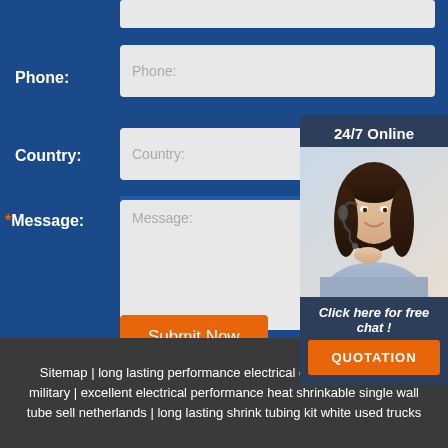Phone:
Phone:
Country:
Country:
24/7 Online
[Figure (photo): Woman wearing headset, customer support representative]
Click here for free chat !
QUOTATION
*Message:
Message:
Submit Now
Sitemap | long lasting performance electrical connectors applied military | excellent electrical performance heat shrinkable single wall tube sell netherlands | long lasting shrink tubing kit white used trucks